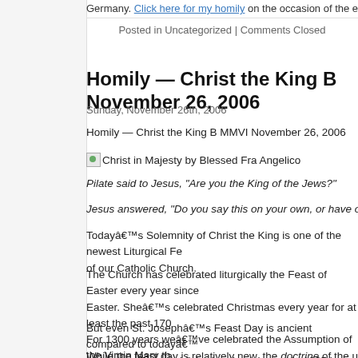Germany. Click here for my homily on the occasion of the election of Pope B...
Posted in Uncategorized | Comments Closed
Homily — Christ the King B November 26, 2006
Sunday, November 26th, 2006
Homily — Christ the King B MMVI November 26, 2006
[Figure (photo): Christ in Majesty by Blessed Fra Angelico (broken image icon with caption)]
Pilate said to Jesus, "Are you the King of the Jews?"
Jesus answered, "Do you say this on your own, or have others told you abo...
Today’s Solemnity of Christ the King is one of the newest Liturgical Fe... of our Catholic Church.
The Church has celebrated liturgically the Feast of Easter every year since Easter. She’s celebrated Christmas every year for at least the past 170... For 1300 years we’ve celebrated the Assumption of the Virgin Mary th... the Church, while St. Joseph’s Day only became a universal feast in the...
But even St. Joseph’s Feast Day is ancient compared to today’... which was first established and celebrated in 1925 by Pope Pius XI.
While the feast day is relatively new, the doctrine of the universal kingship... goes back even to Old Testament times.